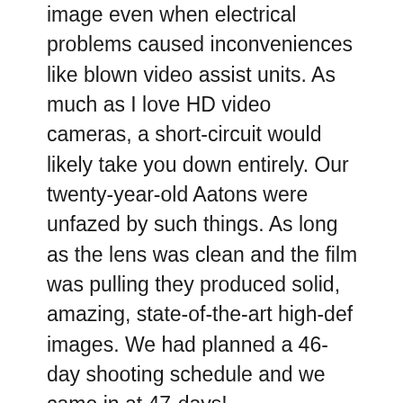image even when electrical problems caused inconveniences like blown video assist units. As much as I love HD video cameras, a short-circuit would likely take you down entirely. Our twenty-year-old Aatons were unfazed by such things. As long as the lens was clean and the film was pulling they produced solid, amazing, state-of-the-art high-def images. We had planned a 46-day shooting schedule and we came in at 47-days!
In the end, some 150 reels of negative was shot and transferred from principal photography. We shipped negative weekly in small ice chests via the FedEx agent in Belize. We ran tests in advance to be sure the packages would not be x-rayed in their circuitous route to Toronto. (There is no such thing as a nightly FedEx Belize...